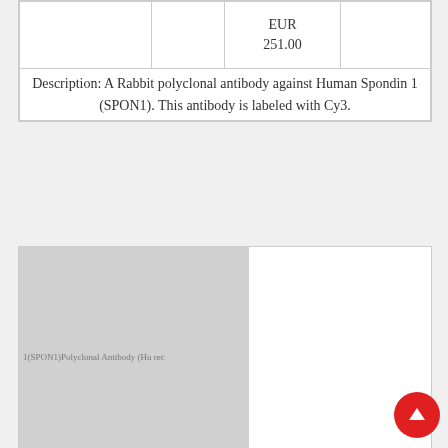|  |  | Currency |  |
| --- | --- | --- | --- |
|  |  | EUR
251.00 |  |
Description: A Rabbit polyclonal antibody against Human Spondin 1 (SPON1). This antibody is labeled with Cy3.
[Figure (photo): Product image placeholder for Spondin 1 (SPON1) Polyclonal Antibody (Human), FITC with label text visible]
Spondin 1 (SPON1) Polyclonal Antibody (Human), FITC
|  |  | Currency |  |
| --- | --- | --- | --- |
|  |  | EUR |  |